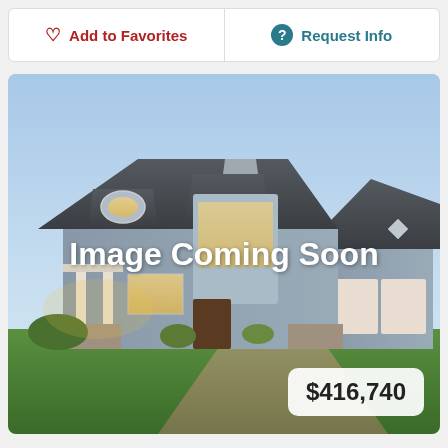Add to Favorites
Request Info
[Figure (photo): Placeholder image of a two-story suburban house with gray siding, large windows, attached garage, stone accents, green lawn, and paved driveway. Overlay text reads 'Image Coming Soon'.]
$416,740